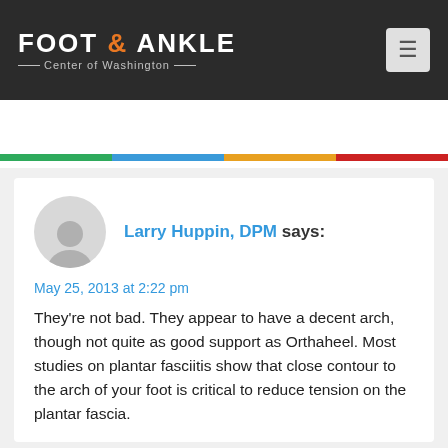FOOT & ANKLE Center of Washington
☎ 206 344 3808
APPOINTMENT
Larry Huppin, DPM says:
May 25, 2013 at 2:22 pm
They're not bad. They appear to have a decent arch, though not quite as good support as Orthaheel. Most studies on plantar fasciitis show that close contour to the arch of your foot is critical to reduce tension on the plantar fascia.